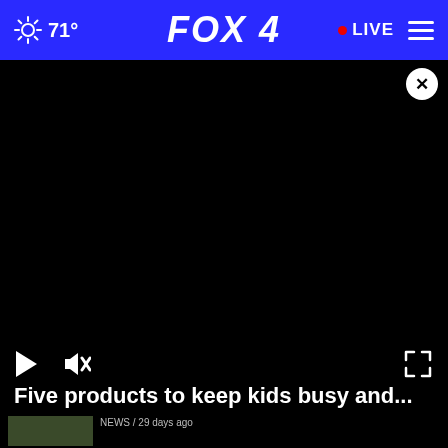71° FOX 4 • LIVE
[Figure (screenshot): Black video player area with close button (×), play button, mute button, and fullscreen button controls]
Five products to keep kids busy and...
NEWS / 29 days ago